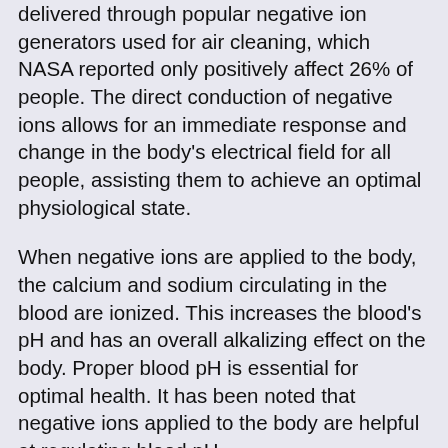delivered through popular negative ion generators used for air cleaning, which NASA reported only positively affect 26% of people. The direct conduction of negative ions allows for an immediate response and change in the body's electrical field for all people, assisting them to achieve an optimal physiological state.
When negative ions are applied to the body, the calcium and sodium circulating in the blood are ionized. This increases the blood's pH and has an overall alkalizing effect on the body. Proper blood pH is essential for optimal health. It has been noted that negative ions applied to the body are helpful at regulating blood pH.
When the amount of negative ions in the blood increases, there is an increase in inter-cellular communication. Cellular metabolism is facilitated, and as a result there is an increase in cellular nutrient uptake and cellular hydration. In addition, cellular waste materials are efficiently excreted. With the increase in cellular metabolism, an optimal cell function is rapidly revived.
Indoor environments, city living, automobiles,